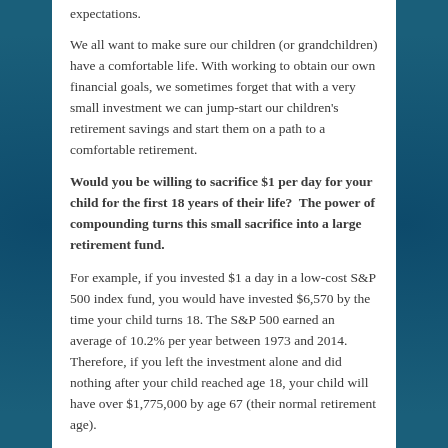expectations.
We all want to make sure our children (or grandchildren) have a comfortable life. With working to obtain our own financial goals, we sometimes forget that with a very small investment we can jump-start our children's retirement savings and start them on a path to a comfortable retirement.
Would you be willing to sacrifice $1 per day for your child for the first 18 years of their life?  The power of compounding turns this small sacrifice into a large retirement fund.
For example, if you invested $1 a day in a low-cost S&P 500 index fund, you would have invested $6,570 by the time your child turns 18. The S&P 500 earned an average of 10.2% per year between 1973 and 2014. Therefore, if you left the investment alone and did nothing after your child reached age 18, your child will have over $1,775,000 by age 67 (their normal retirement age).